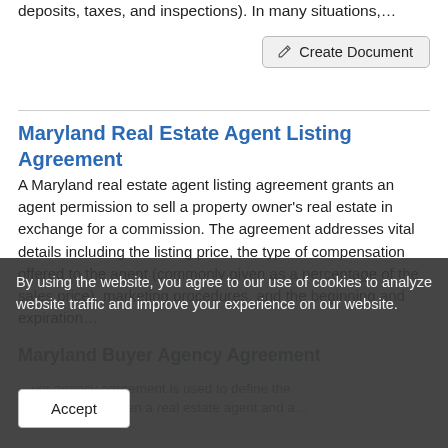deposits, taxes, and inspections). In many situations,…
Create Document
Maryland Real Estate Agent Listing Agreement
A Maryland real estate agent listing agreement grants an agent permission to sell a property owner's real estate in exchange for a commission. The agreement addresses vital details including the listing price, the type of compensation offered to the agent (commonly given as a percentage of the sales price), marketing procedures, and the beginning and expiration…
By using the website, you agree to our use of cookies to analyze website traffic and improve your experience on our website.
Maryland Buyer Agency Agreement
…yer agency agreement is used to define the relationship between a real estate agent and a…
Accept